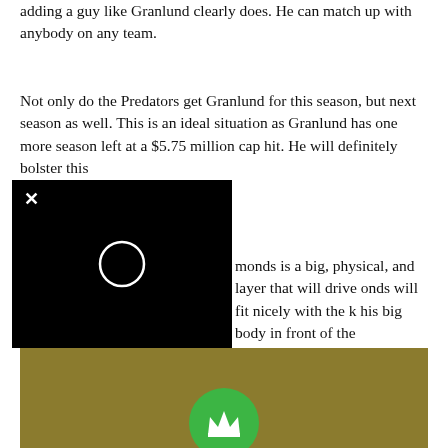adding a guy like Granlund clearly does. He can match up with anybody on any team.
Not only do the Predators get Granlund for this season, but next season as well. This is an ideal situation as Granlund has one more season left at a $5.75 million cap hit. He will definitely bolster this
[Figure (screenshot): Black video player overlay with X close button and circular play/loading icon in center]
monds is a big, physical, and layer that will drive onds will fit nicely with the k his big body in front of the opposing goalie, especially on the power play.
[Figure (logo): Gold/olive colored banner with green circle containing white crown icon]